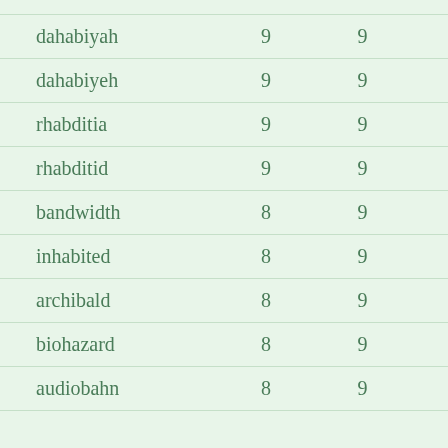|  |  |  |
| --- | --- | --- |
| dahabiyah | 9 | 9 |
| dahabiyeh | 9 | 9 |
| rhabditia | 9 | 9 |
| rhabditid | 9 | 9 |
| bandwidth | 8 | 9 |
| inhabited | 8 | 9 |
| archibald | 8 | 9 |
| biohazard | 8 | 9 |
| audiobahn | 8 | 9 |